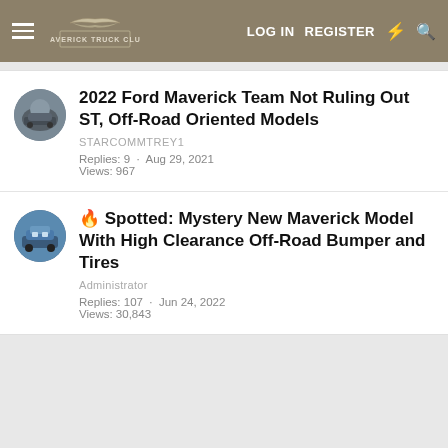Maverick Truck Club — LOG IN  REGISTER
2022 Ford Maverick Team Not Ruling Out ST, Off-Road Oriented Models
STARCOMMTREY1
Replies: 9 · Aug 29, 2021
Views: 967
🔥 Spotted: Mystery New Maverick Model With High Clearance Off-Road Bumper and Tires
Administrator
Replies: 107 · Jun 24, 2022
Views: 30,843